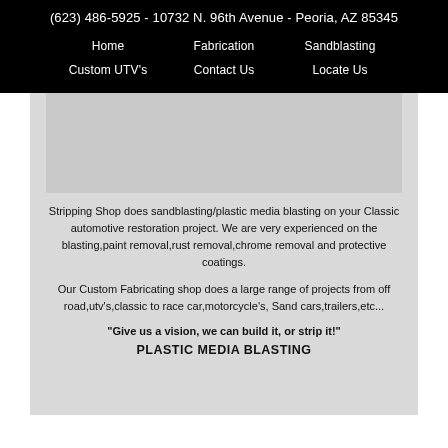(623) 486-5925 - 10732 N. 96th Avenue - Peoria, AZ 85345
Home
Fabrication
Sandblasting
Custom UTV's
Contact Us
Locate Us
[Figure (photo): Gray placeholder image area, no visible content]
Stripping Shop does sandblasting/plastic media blasting on your Classic automotive restoration project. We are very experienced on the blasting,paint removal,rust removal,chrome removal and protective coatings.
Our Custom Fabricating shop does a large range of projects from off road,utv's,classic to race car,motorcycle's, Sand cars,trailers,etc...
"Give us a vision, we can build it, or strip it!"
PLASTIC MEDIA BLASTING